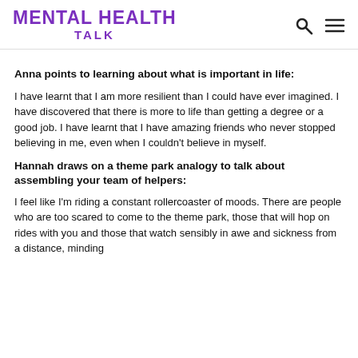MENTAL HEALTH TALK
Anna points to learning about what is important in life:
I have learnt that I am more resilient than I could have ever imagined. I have discovered that there is more to life than getting a degree or a good job. I have learnt that I have amazing friends who never stopped believing in me, even when I couldn’t believe in myself.
Hannah draws on a theme park analogy to talk about assembling your team of helpers:
I feel like I’m riding a constant rollercoaster of moods. There are people who are too scared to come to the theme park, those that will hop on rides with you and those that watch sensibly in awe and sickness from a distance, minding